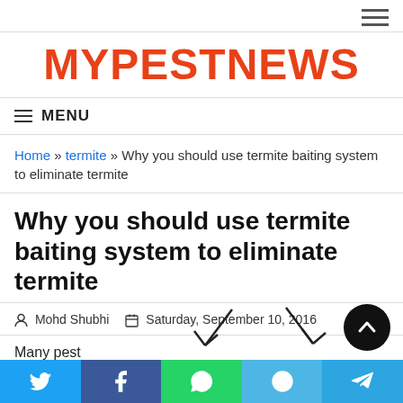MYPESTNEWS
MENU
Home » termite » Why you should use termite baiting system to eliminate termite
Why you should use termite baiting system to eliminate termite
Mohd Shubhi   Saturday, September 10, 2016
Many pest